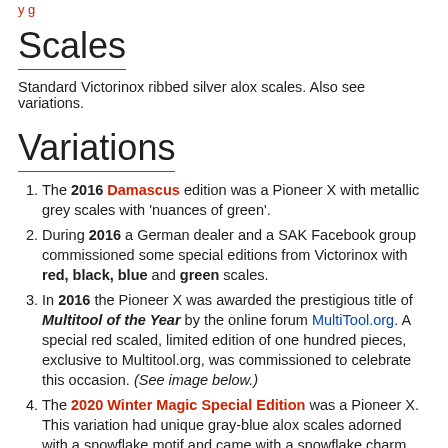y g
Scales
Standard Victorinox ribbed silver alox scales. Also see variations.
Variations
The 2016 Damascus edition was a Pioneer X with metallic grey scales with 'nuances of green'.
During 2016 a German dealer and a SAK Facebook group commissioned some special editions from Victorinox with red, black, blue and green scales.
In 2016 the Pioneer X was awarded the prestigious title of Multitool of the Year by the online forum MultiTool.org. A special red scaled, limited edition of one hundred pieces, exclusive to Multitool.org, was commissioned to celebrate this occasion. (See image below.)
The 2020 Winter Magic Special Edition was a Pioneer X. This variation had unique gray-blue alox scales adorned with a snowflake motif and came with a snowflake charm attached to the keyring. The scales were the first development to Victorinox Alox scales for several decades. The special edition